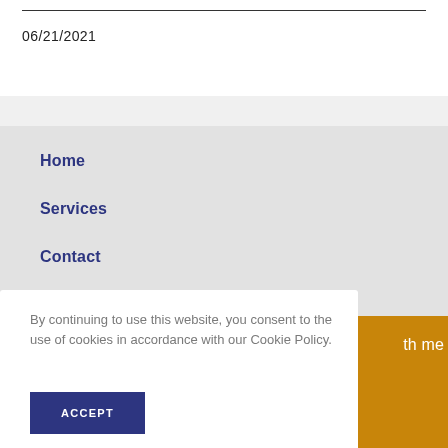06/21/2021
Home
Services
Contact
By continuing to use this website, you consent to the use of cookies in accordance with our Cookie Policy.
ACCEPT
th me